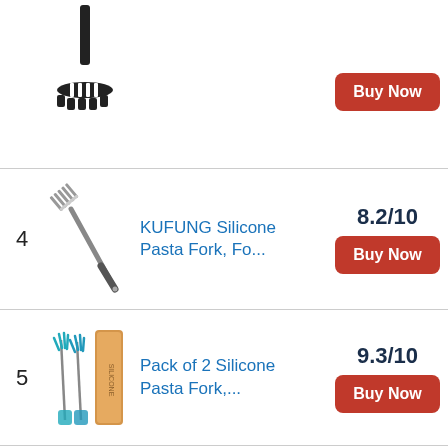[Figure (photo): Partial view of a black pasta masher/spaghetti fork utensil at the top of page]
Buy Now
4  KUFUNG Silicone Pasta Fork, Fo...  8.2/10  Buy Now
5  Pack of 2 Silicone Pasta Fork,...  9.3/10  Buy Now
6  Babish High-Carbon 1.411...  9.5/10  Buy Now